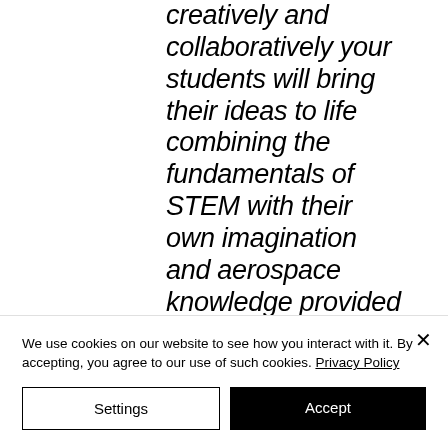creatively and collaboratively your students will bring their ideas to life combining the fundamentals of STEM with their own imagination and aerospace knowledge provided by
We use cookies on our website to see how you interact with it. By accepting, you agree to our use of such cookies. Privacy Policy